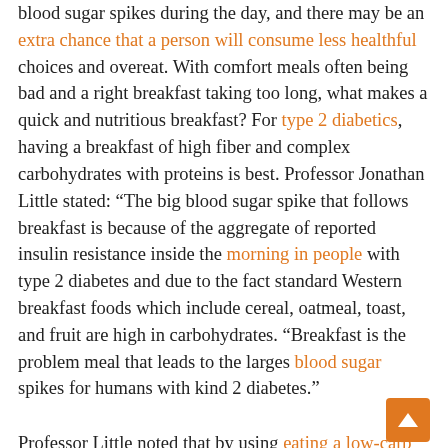blood sugar spikes during the day, and there may be an extra chance that a person will consume less healthful choices and overeat. With comfort meals often being bad and a right breakfast taking too long, what makes a quick and nutritious breakfast? For type 2 diabetics, having a breakfast of high fiber and complex carbohydrates with proteins is best. Professor Jonathan Little stated: “The big blood sugar spike that follows breakfast is because of the aggregate of reported insulin resistance inside the morning in people with type 2 diabetes and due to the fact standard Western breakfast foods which include cereal, oatmeal, toast, and fruit are high in carbohydrates. “Breakfast is the problem meal that leads to the larges blood sugar spikes for humans with kind 2 diabetes.”

Professor Little noted that by using eating a low-carb